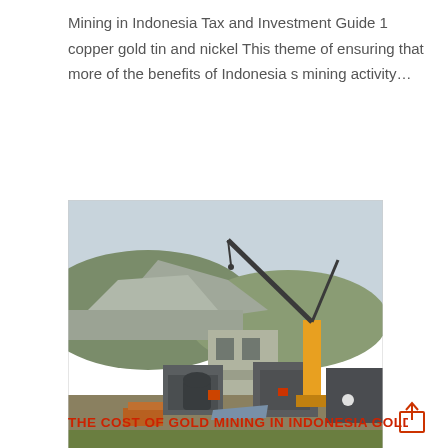Mining in Indonesia Tax and Investment Guide 1 copper gold tin and nickel This theme of ensuring that more of the benefits of Indonesia s mining activity…
[Figure (photo): Photograph of an open-pit mining construction site in Indonesia showing heavy machinery including a large black crane boom, a yellow mobile crane, grey industrial equipment, a partially constructed building, rocky hillside terrain, and green grass in the foreground.]
THE COST OF GOLD MINING IN INDONESIA GOLD...